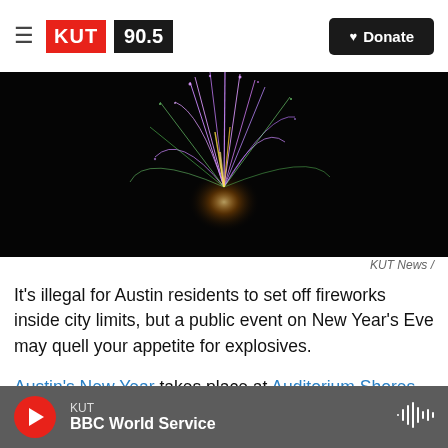KUT 90.5 | Donate
[Figure (photo): Fireworks photo against black night sky showing colorful purple and green streaks of light from a firework explosion]
KUT News /
It's illegal for Austin residents to set off fireworks inside city limits, but a public event on New Year's Eve may quell your appetite for explosives.
Austin's New Year takes place at Auditorium Shores (South 1st and Riverside) and will showcase art, films, live music and, of course, fireworks. The event starts on Saturday at 5:00 p.m. and finishes
KUT | BBC World Service